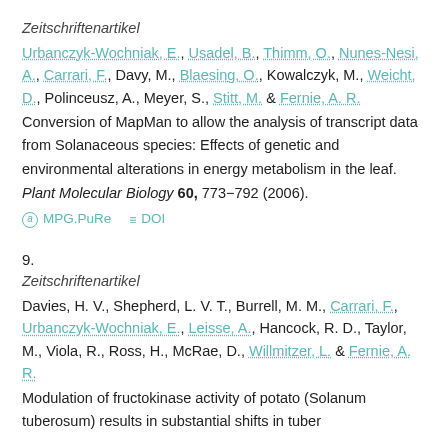Zeitschriftenartikel
Urbanczyk-Wochniak, E., Usadel, B., Thimm, O., Nunes-Nesi, A., Carrari, F., Davy, M., Blaesing, O., Kowalczyk, M., Weicht, D., Polinceusz, A., Meyer, S., Stitt, M. & Fernie, A. R.
Conversion of MapMan to allow the analysis of transcript data from Solanaceous species: Effects of genetic and environmental alterations in energy metabolism in the leaf.
Plant Molecular Biology 60, 773−792 (2006).
MPG.PuRe   DOI
9.
Zeitschriftenartikel
Davies, H. V., Shepherd, L. V. T., Burrell, M. M., Carrari, F., Urbanczyk-Wochniak, E., Leisse, A., Hancock, R. D., Taylor, M., Viola, R., Ross, H., McRae, D., Willmitzer, L. & Fernie, A. R.
Modulation of fructokinase activity of potato (Solanum tuberosum) results in substantial shifts in tuber